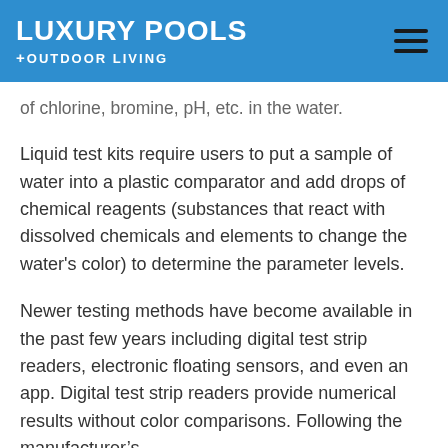LUXURY POOLS + OUTDOOR LIVING
of chlorine, bromine, pH, etc. in the water.
Liquid test kits require users to put a sample of water into a plastic comparator and add drops of chemical reagents (substances that react with dissolved chemicals and elements to change the water's color) to determine the parameter levels.
Newer testing methods have become available in the past few years including digital test strip readers, electronic floating sensors, and even an app. Digital test strip readers provide numerical results without color comparisons. Following the manufacturer's